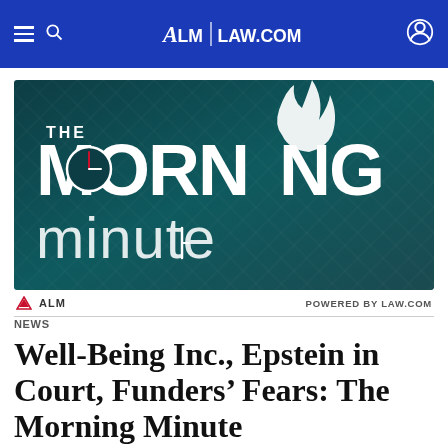ALM | LAW.COM
[Figure (logo): The Morning Minute logo on dark teal background — large stylized text 'THE MORNING minute' with flame design on letter N]
ALM   POWERED BY LAW.COM
NEWS
Well-Being Inc., Epstein in Court, Funders' Fears: The Morning Minute